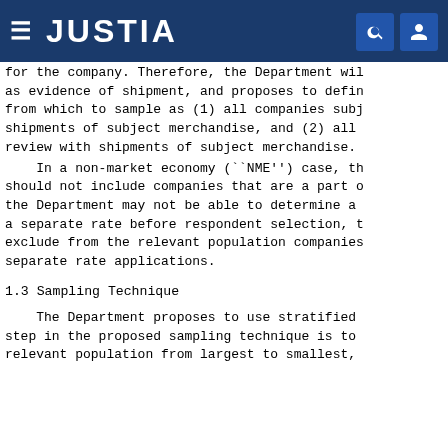JUSTIA
for the company. Therefore, the Department will as evidence of shipment, and proposes to define from which to sample as (1) all companies subj shipments of subject merchandise, and (2) all review with shipments of subject merchandise.
In a non-market economy (``NME'') case, th should not include companies that are a part o the Department may not be able to determine a a separate rate before respondent selection, t exclude from the relevant population companies separate rate applications.
1.3 Sampling Technique
The Department proposes to use stratified step in the proposed sampling technique is to relevant population from largest to smallest,